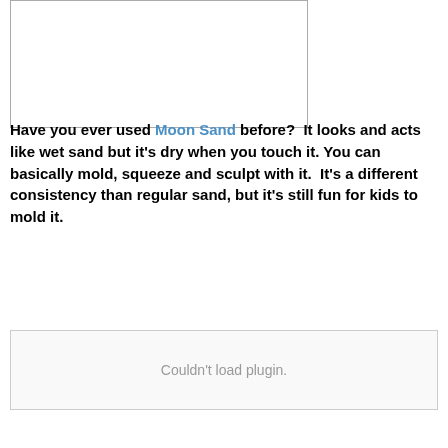[Figure (other): Empty white image placeholder with border]
Have you ever used Moon Sand before?  It looks and acts like wet sand but it's dry when you touch it. You can basically mold, squeeze and sculpt with it.  It's a different consistency than regular sand, but it's still fun for kids to mold it.
[Figure (other): Couldn't load plugin. Plugin embed placeholder.]